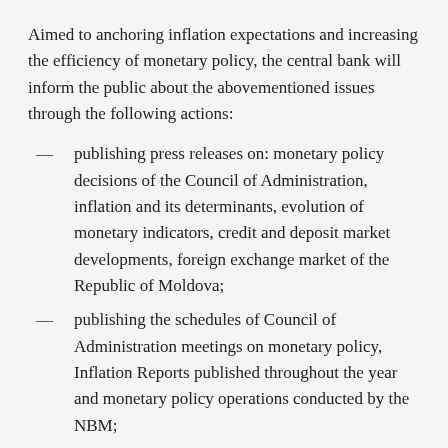Aimed to anchoring inflation expectations and increasing the efficiency of monetary policy, the central bank will inform the public about the abovementioned issues through the following actions:
publishing press releases on: monetary policy decisions of the Council of Administration, inflation and its determinants, evolution of monetary indicators, credit and deposit market developments, foreign exchange market of the Republic of Moldova;
publishing the schedules of Council of Administration meetings on monetary policy, Inflation Reports published throughout the year and monetary policy operations conducted by the NBM;
publishing the medium term monetary policy objectives ( the medium term NBM monetary policy